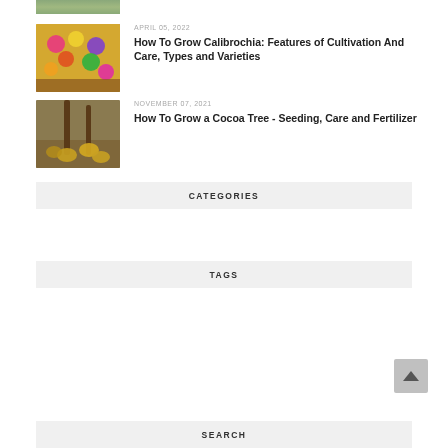[Figure (photo): Partial image of plants/garden at top of page (cropped)]
APRIL 05, 2022
How To Grow Calibrochia: Features of Cultivation And Care, Types and Varieties
[Figure (photo): Photo of colorful calibrochia flowers in a garden pot]
NOVEMBER 07, 2021
How To Grow a Cocoa Tree - Seeding, Care and Fertilizer
[Figure (photo): Photo of a cocoa tree with yellow cocoa pods]
CATEGORIES
TAGS
SEARCH